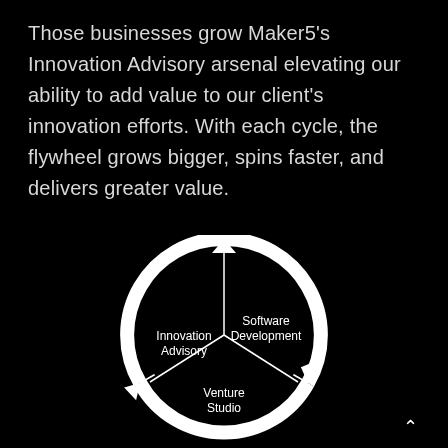Those businesses grow Maker5's Innovation Advisory arsenal elevating our ability to add value to our client's innovation efforts. With each cycle, the flywheel grows bigger, spins faster, and delivers greater value.
[Figure (flowchart): Circular flywheel diagram with three segments connected by arrows: Innovation Advisory (left), Software Development (upper right), and Venture Studio (lower center). Arrows form a continuous clockwise cycle around a white circle.]